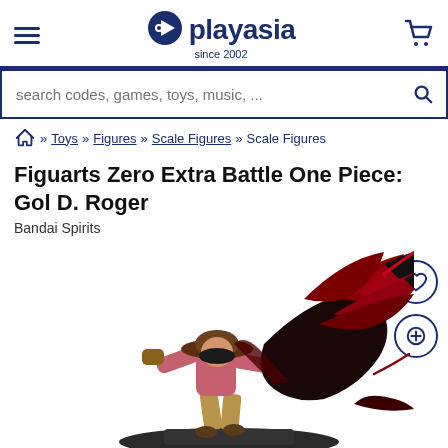playasia since 2002
search codes, games, toys, music, ...
» Toys » Figures » Scale Figures » Scale Figures
Figuarts Zero Extra Battle One Piece: Gol D. Roger
Bandai Spirits
[Figure (photo): Product figure of Figuarts Zero Extra Battle One Piece: Gol D. Roger - an action figure showing a pirate character in combat pose against a dark creature with red feathered appendages]